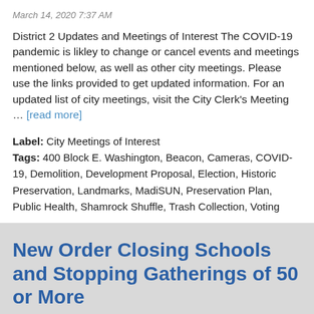March 14, 2020 7:37 AM
District 2 Updates and Meetings of Interest The COVID-19 pandemic is likley to change or cancel events and meetings mentioned below, as well as other city meetings. Please use the links provided to get updated information. For an updated list of city meetings, visit the City Clerk's Meeting … [read more]
Label: City Meetings of Interest
Tags: 400 Block E. Washington, Beacon, Cameras, COVID-19, Demolition, Development Proposal, Election, Historic Preservation, Landmarks, MadiSUN, Preservation Plan, Public Health, Shamrock Shuffle, Trash Collection, Voting
New Order Closing Schools and Stopping Gatherings of 50 or More
March 15, 2020 3:39 PM